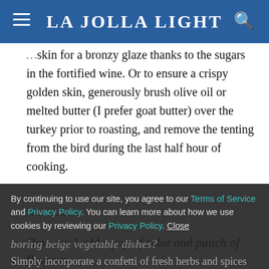La Jolla Light
skin for a bronzy glaze thanks to the sugars in the fortified wine. Or to ensure a crispy golden skin, generously brush olive oil or melted butter (I prefer goat butter) over the turkey prior to roasting, and remove the tenting from the bird during the last half hour of cooking.
How can I add a pop of color and punch of flavor to boring beige vegetable dishes?
By continuing to use our site, you agree to our Terms of Service and Privacy Policy. You can learn more about how we use cookies by reviewing our Privacy Policy. Close
Simply incorporate a confetti of fresh herbs and spices